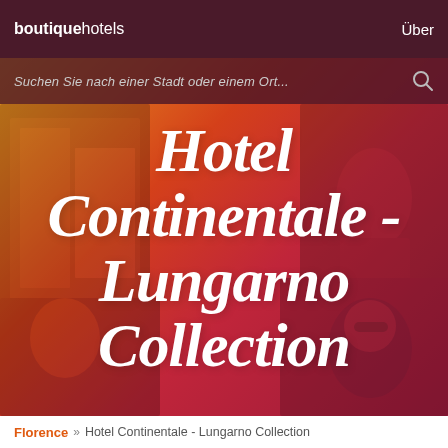boutiquehotels   Über
Suchen Sie nach einer Stadt oder einem Ort...
[Figure (screenshot): Hero image collage with gradient overlay showing hotel scenes in warm red-orange-yellow tones]
Hotel Continentale - Lungarno Collection
Florence » Hotel Continentale - Lungarno Collection